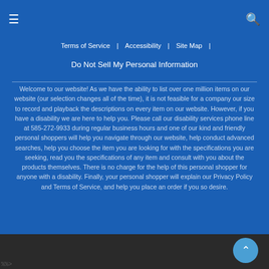≡  🔍
Terms of Service | Accessibility | Site Map |
Do Not Sell My Personal Information
Welcome to our website! As we have the ability to list over one million items on our website (our selection changes all of the time), it is not feasible for a company our size to record and playback the descriptions on every item on our website. However, if you have a disability we are here to help you. Please call our disability services phone line at 585-272-9933 during regular business hours and one of our kind and friendly personal shoppers will help you navigate through our website, help conduct advanced searches, help you choose the item you are looking for with the specifications you are seeking, read you the specifications of any item and consult with you about the products themselves. There is no charge for the help of this personal shopper for anyone with a disability. Finally, your personal shopper will explain our Privacy Policy and Terms of Service, and help you place an order if you so desire.
%%>